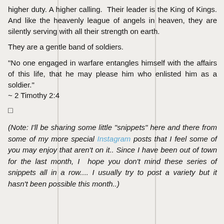higher duty. A higher calling. Their leader is the King of Kings. And like the heavenly league of angels in heaven, they are silently serving with all their strength on earth.
They are a gentle band of soldiers.
"No one engaged in warfare entangles himself with the affairs of this life, that he may please him who enlisted him as a soldier."
~ 2 Timothy 2:4
□
(Note: I'll be sharing some little "snippets" here and there from some of my more special Instagram posts that I feel some of you may enjoy that aren't on it.. Since I have been out of town for the last month, I hope you don't mind these series of snippets all in a row.... I usually try to post a variety but it hasn't been possible this month..)